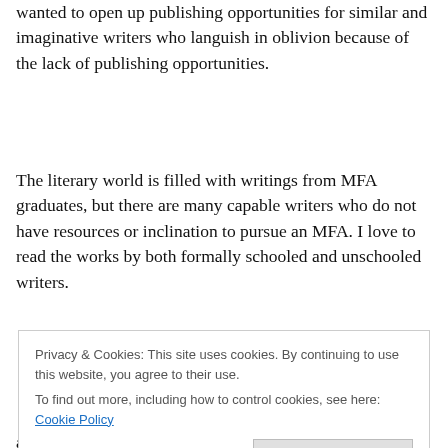wanted to open up publishing opportunities for similar and imaginative writers who languish in oblivion because of the lack of publishing opportunities.
The literary world is filled with writings from MFA graduates, but there are many capable writers who do not have resources or inclination to pursue an MFA. I love to read the works by both formally schooled and unschooled writers.
Privacy & Cookies: This site uses cookies. By continuing to use this website, you agree to their use. To find out more, including how to control cookies, see here: Cookie Policy
and over sixty-five years of reading fiction, I have to